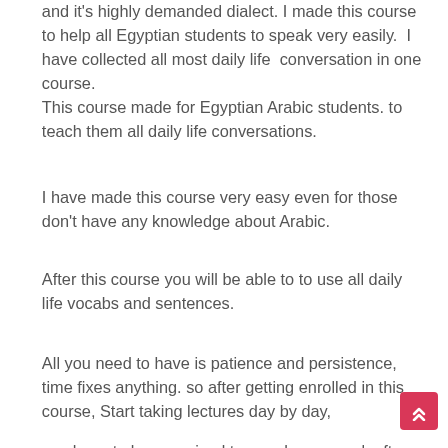and it's highly demanded dialect. I made this course to help all Egyptian students to speak very easily.  I have collected all most daily life  conversation in one course.
This course made for Egyptian Arabic students. to teach them all daily life conversations.
I have made this course very easy even for those don't have any knowledge about Arabic.
After this course you will be able to to use all daily life vocabs and sentences.
All you need to have is patience and persistence, time fixes anything. so after getting enrolled in this course, Start taking lectures day by day,
you have to be organized to  reach your goal. after you finish this course, the time to practice comes. I want to